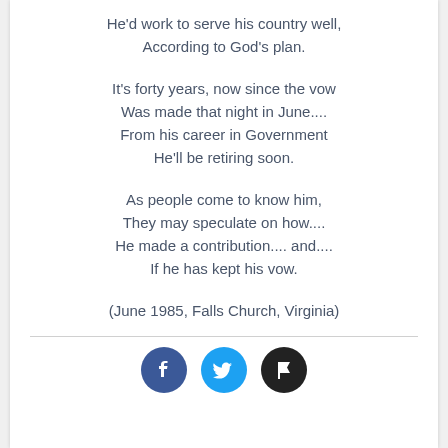He'd work to serve his country well,
According to God's plan.

It's forty years, now since the vow
Was made that night in June....
From his career in Government
He'll be retiring soon.

As people come to know him,
They may speculate on how....
He made a contribution.... and....
If he has kept his vow.

(June 1985, Falls Church, Virginia)
[Figure (other): Three social media icon circles: Facebook (dark blue), Twitter (light blue), and a flag/bookmark icon (black)]